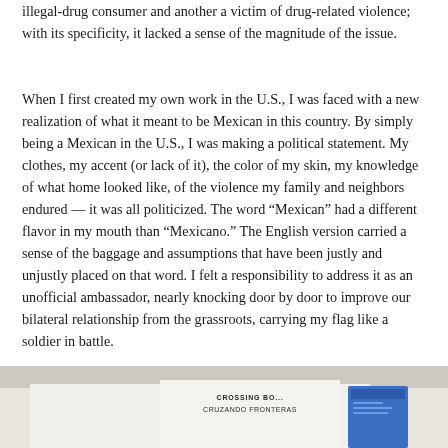illegal-drug consumer and another a victim of drug-related violence; with its specificity, it lacked a sense of the magnitude of the issue.
When I first created my own work in the U.S., I was faced with a new realization of what it meant to be Mexican in this country. By simply being a Mexican in the U.S., I was making a political statement. My clothes, my accent (or lack of it), the color of my skin, my knowledge of what home looked like, of the violence my family and neighbors endured — it was all politicized. The word “Mexican” had a different flavor in my mouth than “Mexicano.” The English version carried a sense of the baggage and assumptions that have been justly and unjustly placed on that word. I felt a responsibility to address it as an unofficial ambassador, nearly knocking door by door to improve our bilateral relationship from the grassroots, carrying my flag like a soldier in battle.
[Figure (photo): Bottom portion of a photograph showing what appears to be papers or documents on a table, including a paper with text reading 'CROSSING BORDERS / CRUZANDO FRONTERAS' and a blue card/booklet, against a light background.]